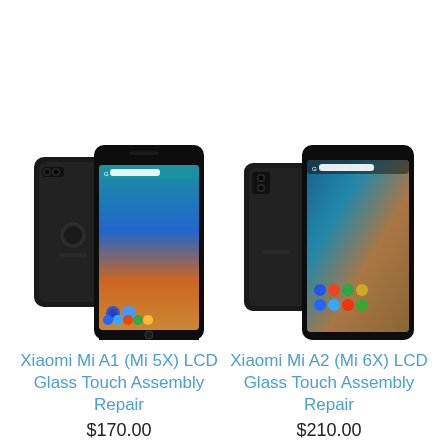[Figure (photo): Xiaomi Mi A1 (Mi 5X) smartphone showing front and back views, dark color]
Xiaomi Mi A1 (Mi 5X) LCD Glass Touch Assembly Repair
$170.00
[Figure (photo): Xiaomi Mi A2 (Mi 6X) smartphone showing front and back views, dark color]
Xiaomi Mi A2 (Mi 6X) LCD Glass Touch Assembly Repair
$210.00